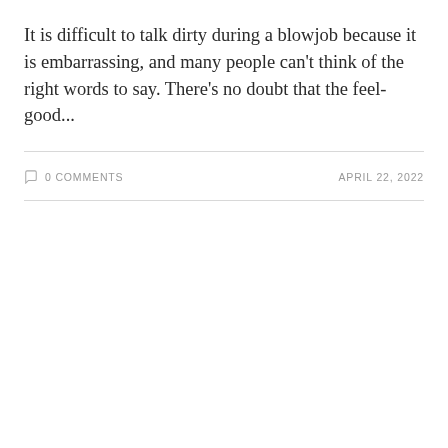It is difficult to talk dirty during a blowjob because it is embarrassing, and many people can't think of the right words to say. There's no doubt that the feel-good...
0 COMMENTS   APRIL 22, 2022